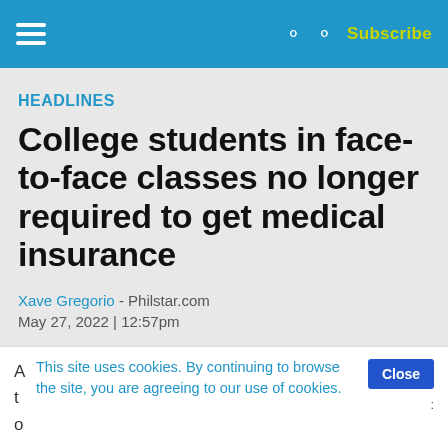HEADLINES — Philstar.com navigation bar with Subscribe
HEADLINES
College students in face-to-face classes no longer required to get medical insurance
Xave Gregorio - Philstar.com
May 27, 2022 | 12:57pm
This site uses cookies. By continuing to browse the site, you are agreeing to our use of cookies.